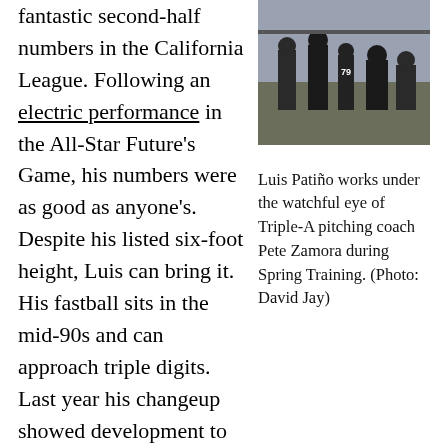fantastic second-half numbers in the California League. Following an electric performance in the All-Star Future's Game, his numbers were as good as anyone's. Despite his listed six-foot height, Luis can bring it. His fastball sits in the mid-90s and can approach triple digits. Last year his changeup showed development to become as big a weapon as his slider.
[Figure (photo): Luis Patiño in a San Diego Padres uniform working with coaches during Spring Training, wearing jersey number 79]
Luis Patiño works under the watchful eye of Triple-A pitching coach Pete Zamora during Spring Training. (Photo: David Jay)
Negatives: There were times early last season that Patiño tried to simply muscle his way through the competition, leading to struggles with command. By the summer though, he was more consistently under control and issued just five walks over his final 30 innings with Lake Elsinore before a late-season promotion.